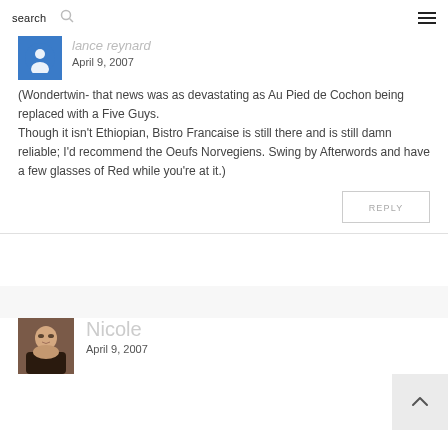search
[Figure (illustration): User avatar with blue background showing a circular user icon, partially visible, for commenter 'lance reynard']
lance reynard
April 9, 2007
(Wondertwin- that news was as devastating as Au Pied de Cochon being replaced with a Five Guys.
Though it isn't Ethiopian, Bistro Francaise is still there and is still damn reliable; I'd recommend the Oeufs Norvegiens. Swing by Afterwords and have a few glasses of Red while you're at it.)
REPLY
[Figure (photo): Profile photo of Nicole, a woman with dark hair]
Nicole
April 9, 2007